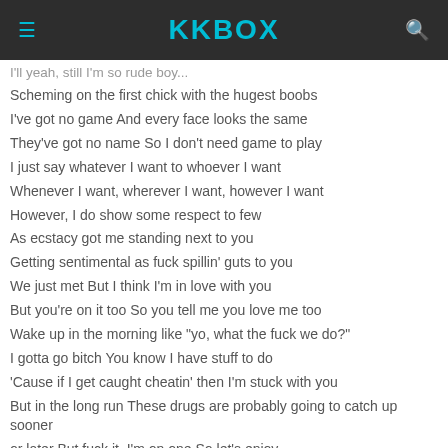KKBOX
I'll yeah, still I'm so rude boy...
Scheming on the first chick with the hugest boobs
I've got no game And every face looks the same
They've got no name So I don't need game to play
I just say whatever I want to whoever I want
Whenever I want, wherever I want, however I want
However, I do show some respect to few
As ecstacy got me standing next to you
Getting sentimental as fuck spillin' guts to you
We just met But I think I'm in love with you
But you're on it too So you tell me you love me too
Wake up in the morning like "yo, what the fuck we do?"
I gotta go bitch You know I have stuff to do
'Cause if I get caught cheatin' then I'm stuck with you
But in the long run These drugs are probably going to catch up sooner
or later But fuck it, I'm on one So let's enjoy
Let the X destroy your spinal cord So it's not a straight line no more
'Til we walk around looking like some wind-up dolls